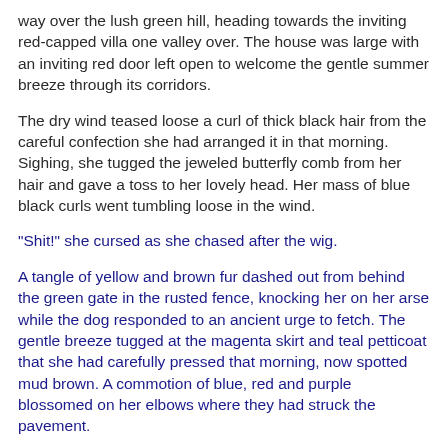way over the lush green hill, heading towards the inviting red-capped villa one valley over. The house was large with an inviting red door left open to welcome the gentle summer breeze through its corridors.
The dry wind teased loose a curl of thick black hair from the careful confection she had arranged it in that morning. Sighing, she tugged the jeweled butterfly comb from her hair and gave a toss to her lovely head. Her mass of blue black curls went tumbling loose in the wind.
"Shit!" she cursed as she chased after the wig.
A tangle of yellow and brown fur dashed out from behind the green gate in the rusted fence, knocking her on her arse while the dog responded to an ancient urge to fetch. The gentle breeze tugged at the magenta skirt and teal petticoat that she had carefully pressed that morning, now spotted mud brown. A commotion of blue, red and purple blossomed on her elbows where they had struck the pavement.
Flashbulbs popped white as she got to her feet, her red